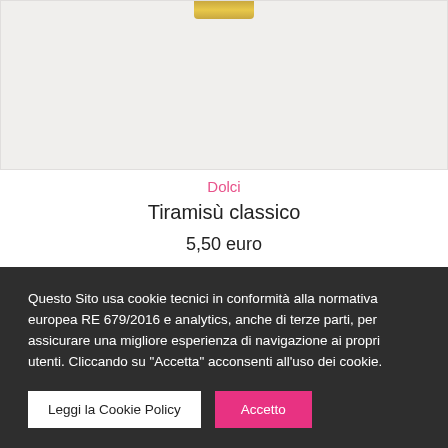[Figure (photo): Product image area with light beige/grey background and a gold-colored top element visible at the top center]
Dolci
Tiramisù classico
5,50 euro
[Figure (photo): Second product image area partially visible at the bottom of the content area]
Questo Sito usa cookie tecnici in conformità alla normativa europea RE 679/2016 e analytics, anche di terze parti, per assicurare una migliore esperienza di navigazione ai propri utenti. Cliccando su "Accetta" acconsenti all'uso dei cookie.
Leggi la Cookie Policy
Accetto